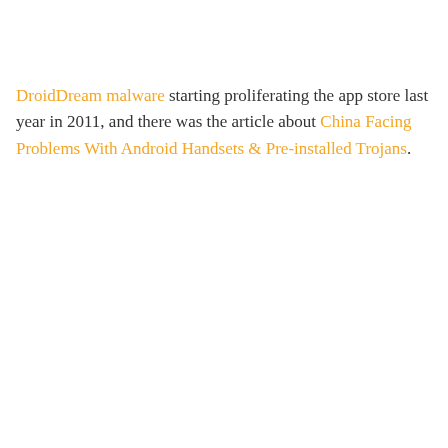DroidDream malware starting proliferating the app store last year in 2011, and there was the article about China Facing Problems With Android Handsets & Pre-installed Trojans.